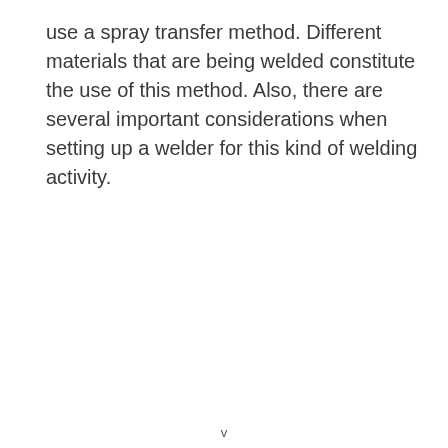use a spray transfer method. Different materials that are being welded constitute the use of this method. Also, there are several important considerations when setting up a welder for this kind of welding activity.
v